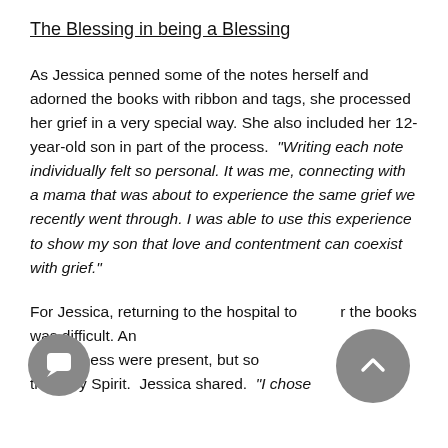The Blessing in being a Blessing
As Jessica penned some of the notes herself and adorned the books with ribbon and tags, she processed her grief in a very special way. She also included her 12-year-old son in part of the process. “Writing each note individually felt so personal. It was me, connecting with a mama that was about to experience the same grief we recently went through. I was able to use this experience to show my son that love and contentment can coexist with grief.”
For Jessica, returning to the hospital to the books was difficult. Anxiety and sadness were present, but so was the Holy Spirit. Jessica shared. “I chose